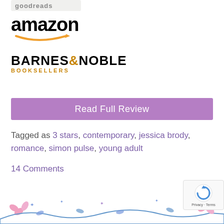[Figure (logo): Goodreads logo (partially visible at top)]
[Figure (logo): Amazon logo with orange arrow/smile]
[Figure (logo): Barnes & Noble Booksellers logo]
Read Full Review
Tagged as 3 stars, contemporary, jessica brody, romance, simon pulse, young adult
14 Comments
[Figure (illustration): Decorative floral vine border illustration in pink and blue]
[Figure (other): reCAPTCHA Privacy - Terms overlay in bottom right corner]